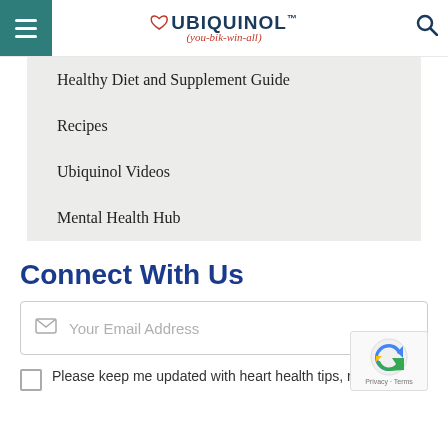Ubiquinol (you-bik-win-all)
Healthy Diet and Supplement Guide
Recipes
Ubiquinol Videos
Mental Health Hub
Connect With Us
Your Email Address
Please keep me updated with heart health tips, recipes,